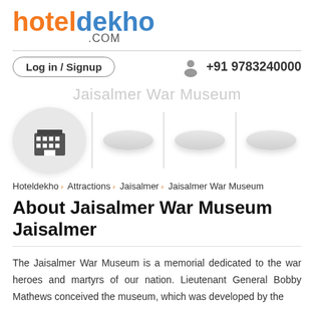[Figure (logo): hoteldekho.com logo with orange 'hotel', blue 'dekho' and grey '.COM']
Log in / Signup   +91 9783240000
Jaisalmer War Museum
[Figure (photo): Image strip with hotel building icon in circle and three blurred oval image placeholders separated by vertical lines]
Hoteldekho > Attractions > Jaisalmer > Jaisalmer War Museum
About Jaisalmer War Museum Jaisalmer
The Jaisalmer War Museum is a memorial dedicated to the war heroes and martyrs of our nation. Lieutenant General Bobby Mathews conceived the museum, which was developed by the